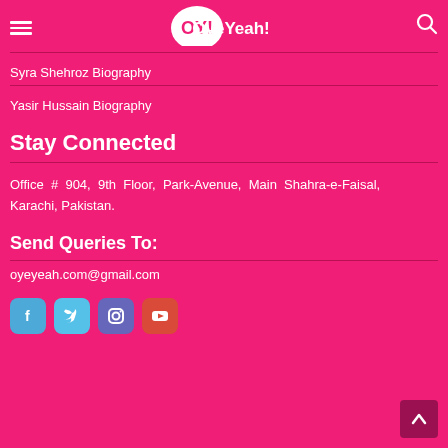OY! OyeYeah!
Syra Shehroz Biography
Yasir Hussain Biography
Stay Connected
Office # 904, 9th Floor, Park-Avenue, Main Shahra-e-Faisal, Karachi, Pakistan.
Send Queries To:
oyeyeah.com@gmail.com
[Figure (infographic): Social media icons: Facebook, Twitter, Instagram, YouTube]